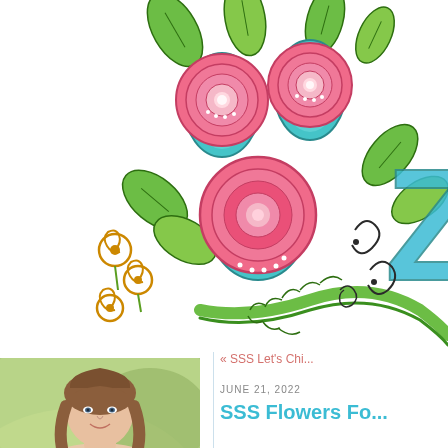[Figure (illustration): Colorful hand-drawn floral illustration with pink roses, teal/cyan flower petals, green leaves, yellow spiral buds, and decorative teal lettering/swirls on a white background. The image is cropped, showing the left and center portion of a blog header graphic.]
[Figure (photo): Portrait photo of a woman with medium-length brown hair, smiling, with a blurred outdoor background.]
« SSS Let's Chi...
JUNE 21, 2022
SSS Flowers Fo...